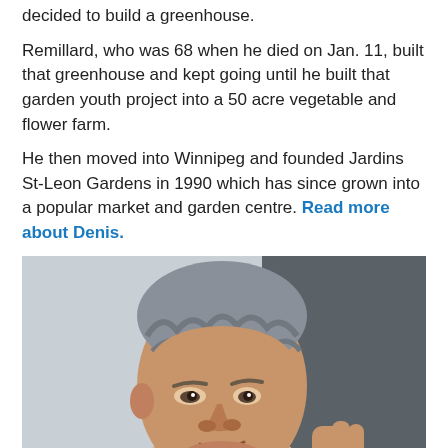decided to build a greenhouse.
Remillard, who was 68 when he died on Jan. 11, built that greenhouse and kept going until he built that garden youth project into a 50 acre vegetable and flower farm.
He then moved into Winnipeg and founded Jardins St-Leon Gardens in 1990 which has since grown into a popular market and garden centre. Read more about Denis.
[Figure (photo): Close-up photo of an older man with grey wavy hair, looking slightly downward, with a blurred grey background.]